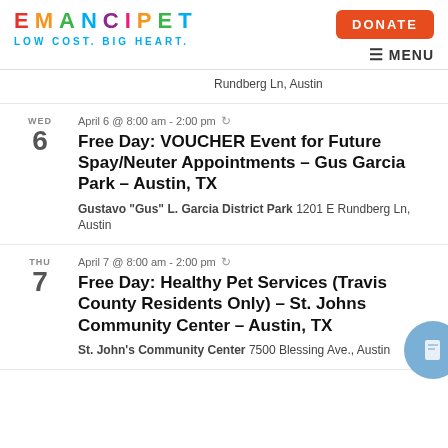EMANCIPET — LOW COST. BIG HEART. | DONATE | MENU
Rundberg Ln, Austin
April 6 @ 8:00 am - 2:00 pm
Free Day: VOUCHER Event for Future Spay/Neuter Appointments – Gus Garcia Park – Austin, TX
Gustavo "Gus" L. Garcia District Park 1201 E Rundberg Ln, Austin
April 7 @ 8:00 am - 2:00 pm
Free Day: Healthy Pet Services (Travis County Residents Only) – St. Johns Community Center – Austin, TX
St. John's Community Center 7500 Blessing Ave., Austin